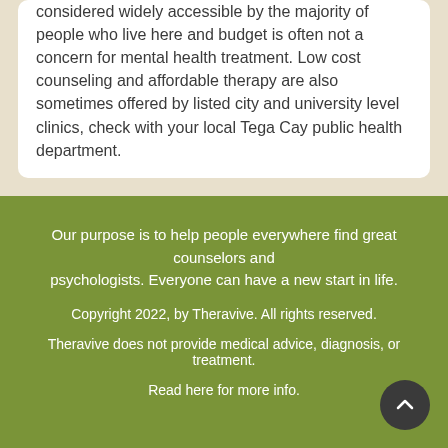considered widely accessible by the majority of people who live here and budget is often not a concern for mental health treatment. Low cost counseling and affordable therapy are also sometimes offered by listed city and university level clinics, check with your local Tega Cay public health department.
Our purpose is to help people everywhere find great counselors and psychologists. Everyone can have a new start in life.
Copyright 2022, by Theravive. All rights reserved.
Theravive does not provide medical advice, diagnosis, or treatment.
Read here for more info.